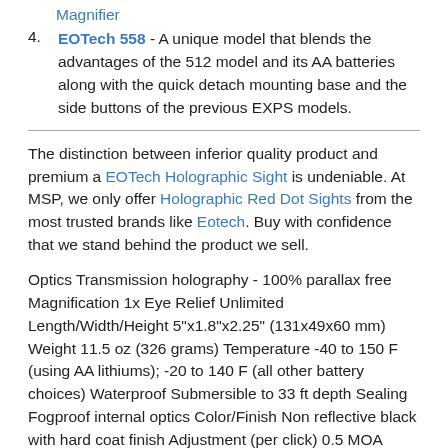Magnifier
EOTech 558 - A unique model that blends the advantages of the 512 model and its AA batteries along with the quick detach mounting base and the side buttons of the previous EXPS models.
The distinction between inferior quality product and premium a EOTech Holographic Sight is undeniable. At MSP, we only offer Holographic Red Dot Sights from the most trusted brands like Eotech. Buy with confidence that we stand behind the product we sell.
Optics Transmission holography - 100% parallax free Magnification 1x Eye Relief Unlimited Length/Width/Height 5"x1.8"x2.25" (131x49x60 mm) Weight 11.5 oz (326 grams) Temperature -40 to 150 F (using AA lithiums); -20 to 140 F (all other battery choices) Waterproof Submersible to 33 ft depth Sealing Fogproof internal optics Color/Finish Non reflective black with hard coat finish Adjustment (per click) 0.5 MOA (1/2\\" at 100 yds) Adjustment Range +/- 40 MOA travel Mount 1\\" Picatinny (MIL-STD-1913) rail Return to Zero Repeatable to 1 MOA after re-mounting Heads Up Display